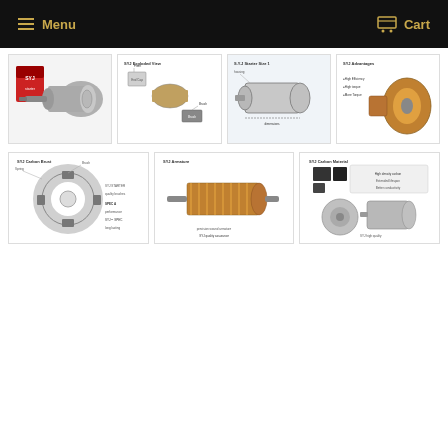Menu   Cart
[Figure (photo): Starter motor with red product box, gray cylindrical motor body with gear shaft]
[Figure (engineering-diagram): Exploded view diagram of starter motor components labeled in English]
[Figure (engineering-diagram): Starter motor exterior view with dimension callouts]
[Figure (engineering-diagram): Cut-away/interior view of starter motor armature with feature callouts]
[Figure (engineering-diagram): Carbon brush assembly diagram with labels and specifications]
[Figure (engineering-diagram): Armature component diagram with specifications and labels]
[Figure (engineering-diagram): Carbon material/commutator detail with specifications and starter motor photo]